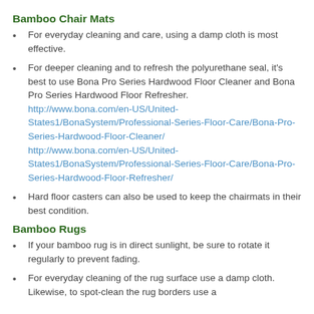Bamboo Chair Mats
For everyday cleaning and care, using a damp cloth is most effective.
For deeper cleaning and to refresh the polyurethane seal, it's best to use Bona Pro Series Hardwood Floor Cleaner and Bona Pro Series Hardwood Floor Refresher. http://www.bona.com/en-US/United-States1/BonaSystem/Professional-Series-Floor-Care/Bona-Pro-Series-Hardwood-Floor-Cleaner/ http://www.bona.com/en-US/United-States1/BonaSystem/Professional-Series-Floor-Care/Bona-Pro-Series-Hardwood-Floor-Refresher/
Hard floor casters can also be used to keep the chairmats in their best condition.
Bamboo Rugs
If your bamboo rug is in direct sunlight, be sure to rotate it regularly to prevent fading.
For everyday cleaning of the rug surface use a damp cloth. Likewise, to spot-clean the rug borders use a